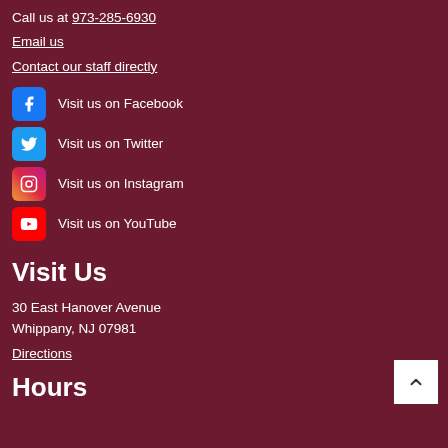Call us at 973-285-6930
Email us
Contact our staff directly
Visit us on Facebook
Visit us on Twitter
Visit us on Instagram
Visit us on YouTube
Visit Us
30 East Hanover Avenue
Whippany, NJ 07981
Directions
Hours